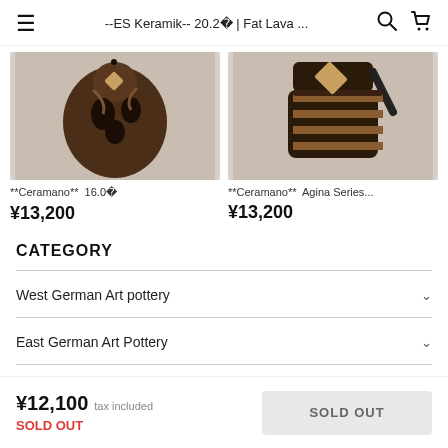-- ES Keramik-- 20.2? | Fat Lava ...
[Figure (photo): Photo of a dark brown ceramic vase/pitcher with organic sculptural shape and a tag, product for Ceramano 16.0?]
[Figure (photo): Photo of a dark brown striped ceramic pitcher with handle, product for Ceramano Agina Series]
**Ceramano** 16.0? ¥13,200
**Ceramano** Agina Series... ¥13,200
CATEGORY
West German Art pottery
East German Art Pottery
¥12,100 tax included SOLD OUT